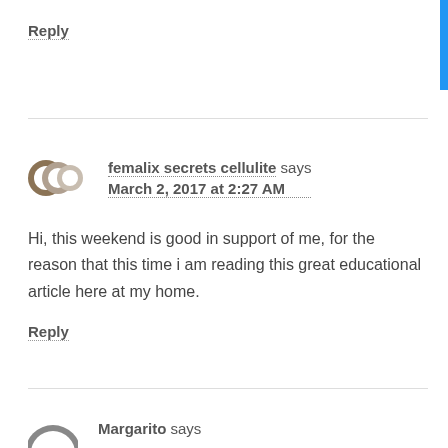Reply
femalix secrets cellulite says
March 2, 2017 at 2:27 AM
Hi, this weekend is good in support of me, for the reason that this time i am reading this great educational article here at my home.
Reply
Margarito says